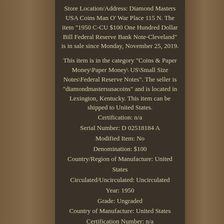Store Location/Address: Diamond Masters USA Coins Man O' War Place 115 N. The item "1950 C-CU $100 One Hundred Dollar Bill Federal Reserve Bank Note-Cleveland" is in sale since Monday, November 25, 2019.
This item is in the category "Coins & Paper Money\Paper Money\ US\Small Size Notes\Federal Reserve Notes". The seller is "diamondmastersusacoins" and is located in Lexington, Kentucky. This item can be shipped to United States.
Certification: n/a
Serial Number: D 02518184 A
Modified Item: No
Denomination: $100
Country/Region of Manufacture: United States
Circulated/Uncirculated: Uncirculated
Year: 1950
Grade: Ungraded
Country of Manufacture: United States
Certification Number: n/a